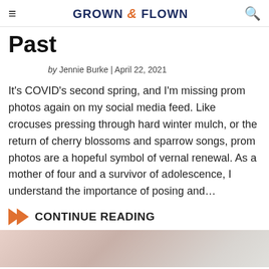GROWN & FLOWN
Past
by Jennie Burke | April 22, 2021
It's COVID's second spring, and I'm missing prom photos again on my social media feed. Like crocuses pressing through hard winter mulch, or the return of cherry blossoms and sparrow songs, prom photos are a hopeful symbol of vernal renewal. As a mother of four and a survivor of adolescence, I understand the importance of posing and…
CONTINUE READING
[Figure (photo): A soft-focus photograph partially visible at the bottom of the page, showing blurred figures in light pinkish and grey tones.]